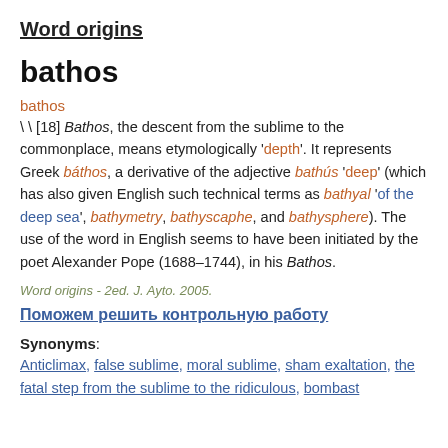Word origins
bathos
bathos
\ \ [18] Bathos, the descent from the sublime to the commonplace, means etymologically 'depth'. It represents Greek báthos, a derivative of the adjective bathús 'deep' (which has also given English such technical terms as bathyal 'of the deep sea', bathymetry, bathyscaphe, and bathysphere). The use of the word in English seems to have been initiated by the poet Alexander Pope (1688–1744), in his Bathos.
Word origins - 2ed. J. Ayto. 2005.
Поможем решить контрольную работу
Synonyms: Anticlimax, false sublime, moral sublime, sham exaltation, the fatal step from the sublime to the ridiculous, bombast